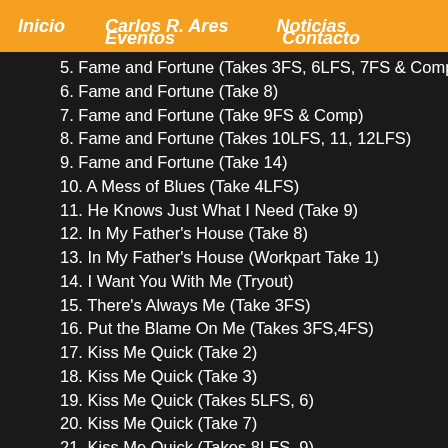Inicio | Carlos R. Ares | Noticias | Eventos | Contacto
5. Fame and Fortune (Takes 3FS, 6LFS, 7FS & Comp)
6. Fame and Fortune (Take 8)
7. Fame and Fortune (Take 9FS & Comp)
8. Fame and Fortune (Takes 10LFS, 11, 12LFS)
9. Fame and Fortune (Take 14)
10. A Mess of Blues (Take 4LFS)
11. He Knows Just What I Need (Take 9)
12. In My Father's House (Take 8)
13. In My Father's House (Workpart Take 1)
14. I Want You With Me (Tryout)
15. There's Always Me (Take 3FS)
16. Put the Blame On Me (Takes 3FS,4FS)
17. Kiss Me Quick (Take 2)
18. Kiss Me Quick (Take 3)
19. Kiss Me Quick (Takes 5LFS, 6)
20. Kiss Me Quick (Take 7)
21. Kiss Me Quick (Takes 8LFS, 9)
22. Kiss Me Quick (Take 10)